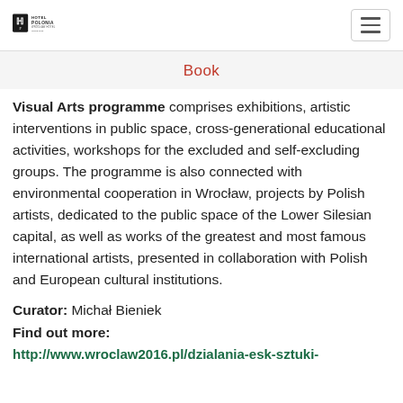Hotel Polonia logo and navigation hamburger menu
Book
Visual Arts programme comprises exhibitions, artistic interventions in public space, cross-generational educational activities, workshops for the excluded and self-excluding groups. The programme is also connected with environmental cooperation in Wrocław, projects by Polish artists, dedicated to the public space of the Lower Silesian capital, as well as works of the greatest and most famous international artists, presented in collaboration with Polish and European cultural institutions.
Curator: Michał Bieniek
Find out more:
http://www.wroclaw2016.pl/dzialania-esk-sztuki-